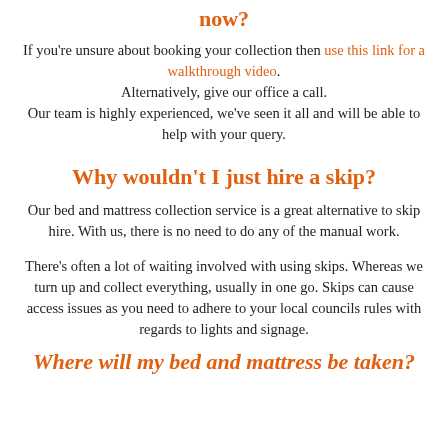now?
If you're unsure about booking your collection then use this link for a walkthrough video. Alternatively, give our office a call. Our team is highly experienced, we've seen it all and will be able to help with your query.
Why wouldn't I just hire a skip?
Our bed and mattress collection service is a great alternative to skip hire. With us, there is no need to do any of the manual work.
There's often a lot of waiting involved with using skips. Whereas we turn up and collect everything, usually in one go. Skips can cause access issues as you need to adhere to your local councils rules with regards to lights and signage.
Where will my bed and mattress be taken?